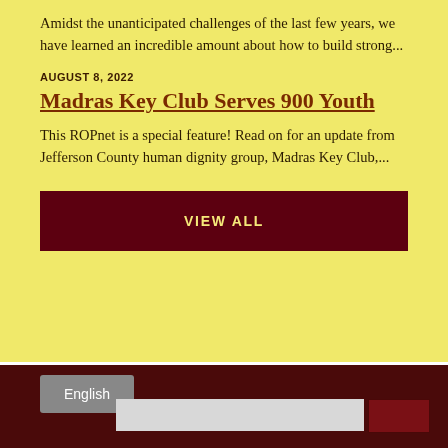Amidst the unanticipated challenges of the last few years, we have learned an incredible amount about how to build strong...
AUGUST 8, 2022
Madras Key Club Serves 900 Youth
This ROPnet is a special feature! Read on for an update from Jefferson County human dignity group, Madras Key Club,...
VIEW ALL
English